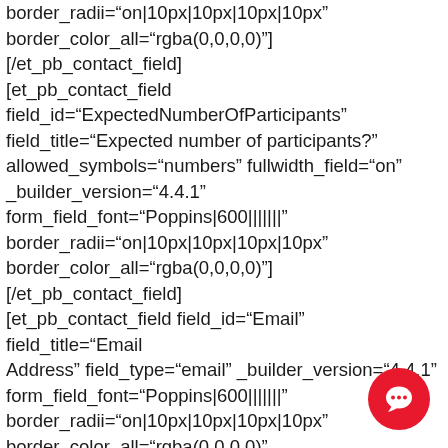border_radii="on|10px|10px|10px|10px" border_color_all="rgba(0,0,0,0)"][/et_pb_contact_field] [et_pb_contact_field field_id="ExpectedNumberOfParticipants" field_title="Expected number of participants?" allowed_symbols="numbers" fullwidth_field="on" _builder_version="4.4.1" form_field_font="Poppins|600||||||" border_radii="on|10px|10px|10px|10px" border_color_all="rgba(0,0,0,0)"][/et_pb_contact_field] [et_pb_contact_field field_id="Email" field_title="Email Address" field_type="email" _builder_version="4.4.1" form_field_font="Poppins|600||||||" border_radii="on|10px|10px|10px|10px" border_color_all="rgba(0,0,0,0)" button_text_size__hover_enabled="off" button_one_text_size__hover_enabled="off" button_two_text_size__hover_enabled="off"
[Figure (illustration): Red circular chat/message button icon in the bottom-right corner]